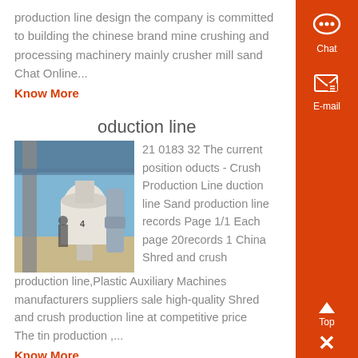production line design the company is committed to building the chinese brand mine crushing and processing machinery mainly crusher mill sand Chat Online...
Know More
production line
[Figure (photo): Industrial machinery equipment photo showing large mill or crusher equipment under a metal structure outdoors]
21 0183 32 The current position oducts - Crush Production Line duction line Sand production line records Page 1/1 Each page 20records 1 China Shred and crush production line,Plastic Auxiliary Machines manufacturers suppliers sale high-quality Shred and crush production line at competitive price The tin production ,...
Know More